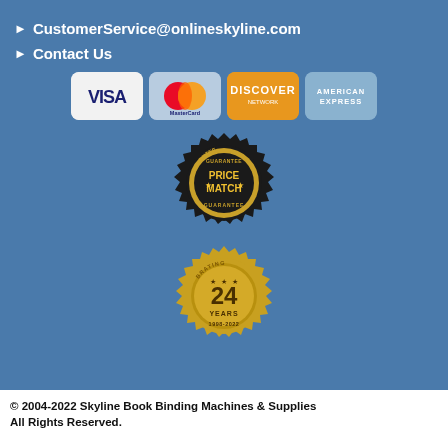▶ CustomerService@onlineskyline.com
▶ Contact Us
[Figure (logo): Payment card logos: VISA, MasterCard, Discover Network, American Express]
[Figure (logo): Price Match Guarantee badge — dark circular seal with gold text reading GUARANTEE PRICE MATCH GUARANTEE with stars]
[Figure (logo): Celebrating 24 Years badge — gold scalloped seal with text CELEBRATING 24 YEARS 1998-2022 with stars]
© 2004-2022 Skyline Book Binding Machines & Supplies All Rights Reserved.